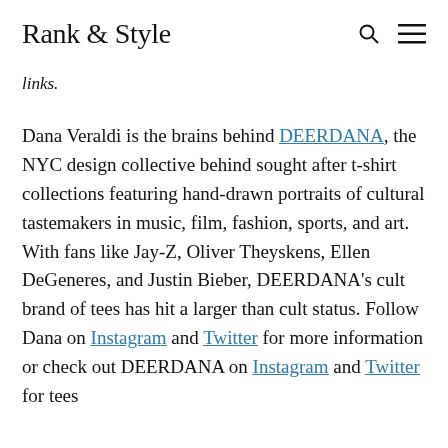Rank & Style
links.
Dana Veraldi is the brains behind DEERDANA, the NYC design collective behind sought after t-shirt collections featuring hand-drawn portraits of cultural tastemakers in music, film, fashion, sports, and art. With fans like Jay-Z, Oliver Theyskens, Ellen DeGeneres, and Justin Bieber, DEERDANA’s cult brand of tees has hit a larger than cult status. Follow Dana on Instagram and Twitter for more information or check out DEERDANA on Instagram and Twitter for tees